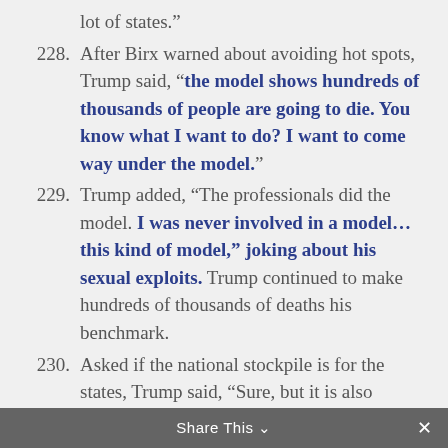lot of states.”
228. After Birx warned about avoiding hot spots, Trump said, “the model shows hundreds of thousands of people are going to die. You know what I want to do? I want to come way under the model.”
229. Trump added, “The professionals did the model. I was never involved in a model… this kind of model,” joking about his sexual exploits. Trump continued to make hundreds of thousands of deaths his benchmark.
230. Asked if the national stockpile is for the states, Trump said, “Sure, but it is also…”
Share This